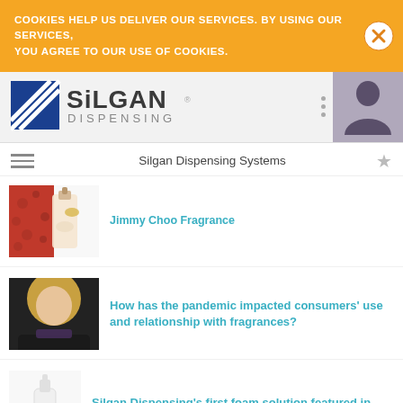COOKIES HELP US DELIVER OUR SERVICES. BY USING OUR SERVICES, YOU AGREE TO OUR USE OF COOKIES.
[Figure (logo): Silgan Dispensing logo with blue diagonal striped square icon and SILGAN DISPENSING text]
Silgan Dispensing Systems
Jimmy Choo Fragrance
How has the pandemic impacted consumers' use and relationship with fragrances?
Silgan Dispensing’s first foam solution featured in Bondi Sands’ newly launched self-tanning line, Pure